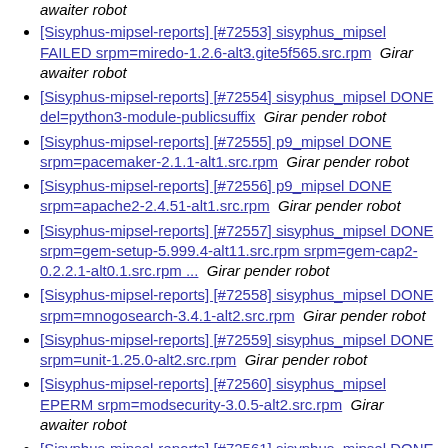awaiter robot
[Sisyphus-mipsel-reports] [#72553] sisyphus_mipsel FAILED srpm=miredo-1.2.6-alt3.gite5f565.src.rpm  Girar awaiter robot
[Sisyphus-mipsel-reports] [#72554] sisyphus_mipsel DONE del=python3-module-publicsuffix  Girar pender robot
[Sisyphus-mipsel-reports] [#72555] p9_mipsel DONE srpm=pacemaker-2.1.1-alt1.src.rpm  Girar pender robot
[Sisyphus-mipsel-reports] [#72556] p9_mipsel DONE srpm=apache2-2.4.51-alt1.src.rpm  Girar pender robot
[Sisyphus-mipsel-reports] [#72557] sisyphus_mipsel DONE srpm=gem-setup-5.999.4-alt11.src.rpm srpm=gem-cap2-0.2.2.1-alt0.1.src.rpm ...  Girar pender robot
[Sisyphus-mipsel-reports] [#72558] sisyphus_mipsel DONE srpm=mnogosearch-3.4.1-alt2.src.rpm  Girar pender robot
[Sisyphus-mipsel-reports] [#72559] sisyphus_mipsel DONE srpm=unit-1.25.0-alt2.src.rpm  Girar pender robot
[Sisyphus-mipsel-reports] [#72560] sisyphus_mipsel EPERM srpm=modsecurity-3.0.5-alt2.src.rpm  Girar awaiter robot
[Sisyphus-mipsel-reports] [#72561] sisyphus_mipsel DONE srpm=xfce4-whiskermenu-plugin-2.6.1-alt1.src.rpm  Girar pender robot
[Sisyphus-mipsel-reports] [#72562] sisyphus_mipsel EPERM srpm=phototonic-2.1.125-alt1.src.rpm  Girar